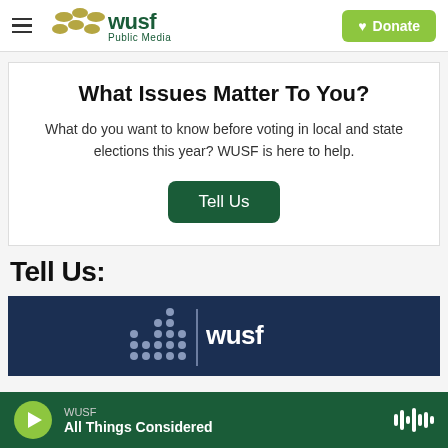WUSF Public Media — Donate
What Issues Matter To You?
What do you want to know before voting in local and state elections this year? WUSF is here to help.
Tell Us:
[Figure (logo): Dark blue banner with WUSF Elections logo — dotted bar chart graphic and WUSF wordmark in white]
WUSF — All Things Considered